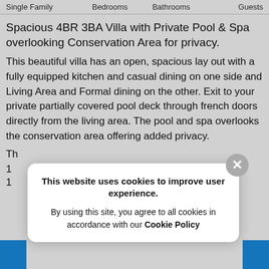Single Family   Bedrooms   Bathrooms   Guests
Spacious 4BR 3BA Villa with Private Pool & Spa overlooking Conservation Area for privacy.
This beautiful villa has an open, spacious lay out with a fully equipped kitchen and casual dining on one side and Living Area and Formal dining on the other. Exit to your private partially covered pool deck through french doors directly from the living area. The pool and spa overlooks the conservation area offering added privacy.
Th
1
1
[Figure (screenshot): Cookie consent popup overlay with close button, title 'This website uses cookies to improve user experience.' and body text 'By using this site, you agree to all cookies in accordance with our Cookie Policy']